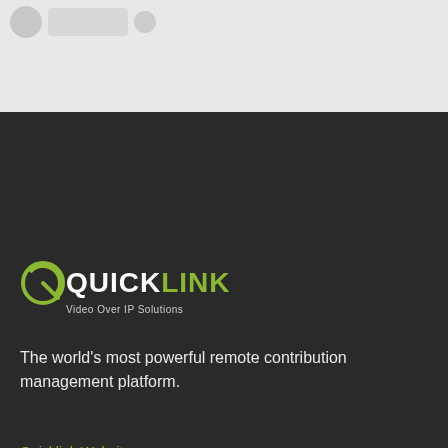[Figure (screenshot): Top grey UI area with circular icon, rectangular placeholder, and small circle element]
[Figure (logo): QuickLink logo with circular Q icon, QUICK in white bold text, LINK in green bold text, and tagline 'Video Over IP Solutions']
The world's most powerful remote contribution management platform.
Quicklink Website
sales@quicklink.tv
support@quicklink.tv